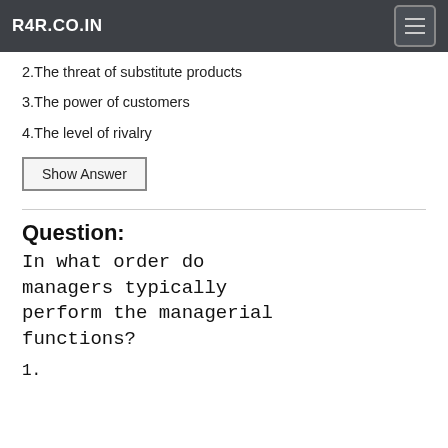R4R.CO.IN
2.The threat of substitute products
3.The power of customers
4.The level of rivalry
Show Answer
Question:
In what order do managers typically perform the managerial functions?
1.